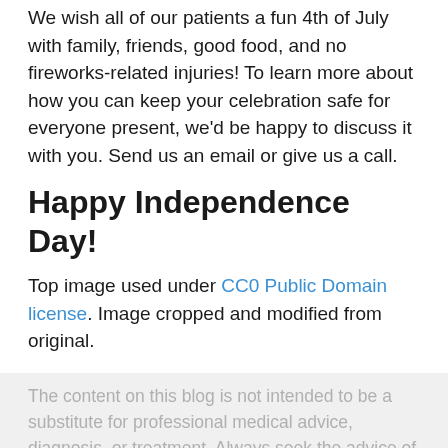We wish all of our patients a fun 4th of July with family, friends, good food, and no fireworks-related injuries! To learn more about how you can keep your celebration safe for everyone present, we'd be happy to discuss it with you. Send us an email or give us a call.
Happy Independence Day!
Top image used under CC0 Public Domain license. Image cropped and modified from original.
The content on this blog is not intended to be a substitute for professional medical advice, diagnosis, or treatment. Always seek the advice of qualified health providers with questions you may have regarding medical conditions.
Posted On: June 8, 2022 @ 8:00am
Posted In: Vision Tips